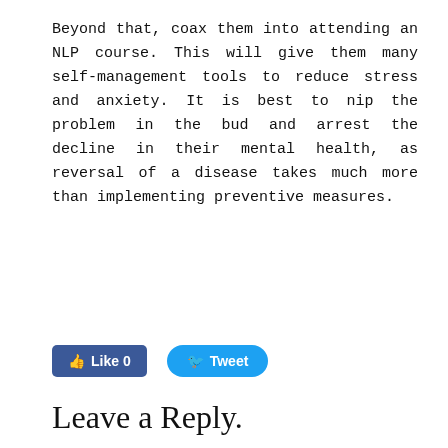Beyond that, coax them into attending an NLP course. This will give them many self-management tools to reduce stress and anxiety. It is best to nip the problem in the bud and arrest the decline in their mental health, as reversal of a disease takes much more than implementing preventive measures.
[Figure (other): Social media buttons: Facebook Like button showing '0' likes and a Twitter Tweet button]
Leave a Reply.